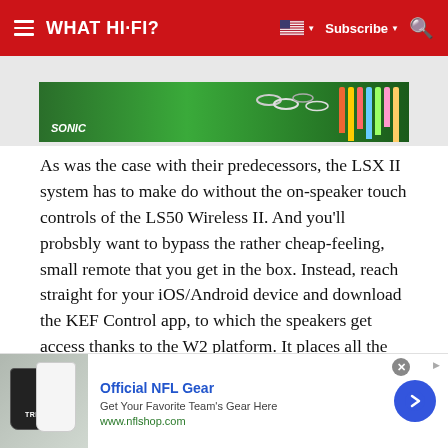WHAT HI-FI?  Subscribe
[Figure (photo): Advertisement banner with colorful background showing Sonic branding and school supplies/pencils]
As was the case with their predecessors, the LSX II system has to make do without the on-speaker touch controls of the LS50 Wireless II. And you'll probsbly want to bypass the rather cheap-feeling, small remote that you get in the box. Instead, reach straight for your iOS/Android device and download the KEF Control app, to which the speakers get access thanks to the W2 platform. It places all the playback controls, streaming services and internet radio at your fingertips. It's an accomplished app that is
[Figure (screenshot): Advertisement for Official NFL Gear - Get Your Favorite Team's Gear Here - www.nflshop.com, showing football jerseys]